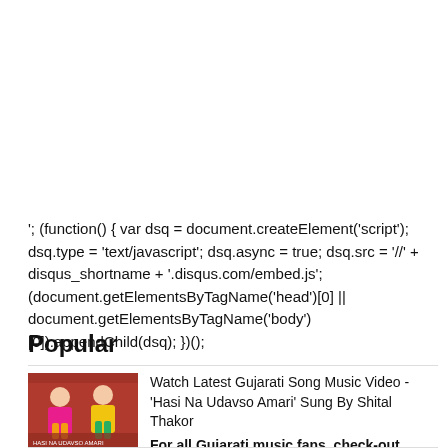'; (function() { var dsq = document.createElement('script'); dsq.type = 'text/javascript'; dsq.async = true; dsq.src = '//' + disqus_shortname + '.disqus.com/embed.js'; (document.getElementsByTagName('head')[0] || document.getElementsByTagName('body')[0]).appendChild(dsq); })();
Popular
[Figure (photo): Thumbnail image for Gujarati song Hasi Na Udavso Amari - shows two people in colorful clothing]
Watch Latest Gujarati Song Music Video - 'Hasi Na Udavso Amari' Sung By Shital Thakor For all Gujarati music fans, check-out latest Gujarati song 'Hasi Na Udavso Amari' sung by 'Shital Thakor'. The song...